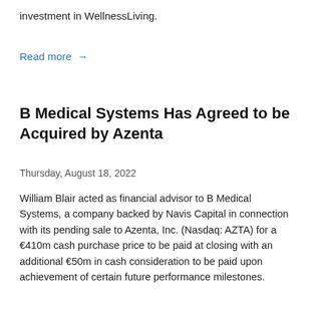investment in WellnessLiving.
Read more →
B Medical Systems Has Agreed to be Acquired by Azenta
Thursday, August 18, 2022
William Blair acted as financial advisor to B Medical Systems, a company backed by Navis Capital in connection with its pending sale to Azenta, Inc. (Nasdaq: AZTA) for a €410m cash purchase price to be paid at closing with an additional €50m in cash consideration to be paid upon achievement of certain future performance milestones.